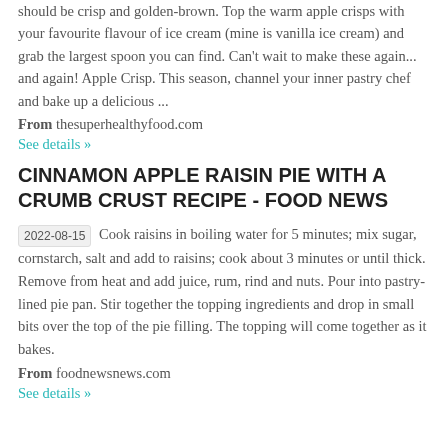should be crisp and golden-brown. Top the warm apple crisps with your favourite flavour of ice cream (mine is vanilla ice cream) and grab the largest spoon you can find. Can't wait to make these again... and again! Apple Crisp. This season, channel your inner pastry chef and bake up a delicious ...
From thesuperhealthyfood.com
See details »
CINNAMON APPLE RAISIN PIE WITH A CRUMB CRUST RECIPE - FOOD NEWS
2022-08-15 Cook raisins in boiling water for 5 minutes; mix sugar, cornstarch, salt and add to raisins; cook about 3 minutes or until thick. Remove from heat and add juice, rum, rind and nuts. Pour into pastry-lined pie pan. Stir together the topping ingredients and drop in small bits over the top of the pie filling. The topping will come together as it bakes.
From foodnewsnews.com
See details »